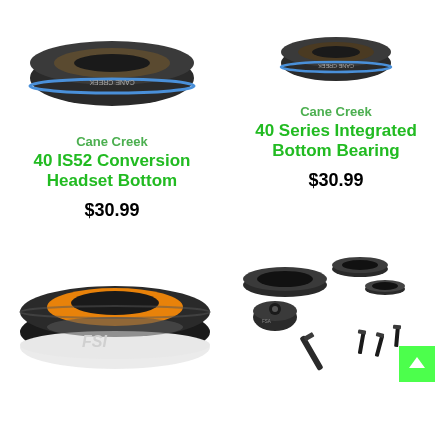[Figure (photo): Cane Creek 40 IS52 Conversion Headset Bottom product photo - black bearing ring viewed from above at an angle]
[Figure (photo): Cane Creek 40 Series Integrated Bottom Bearing product photo - small black bearing ring viewed from above at an angle]
Cane Creek
40 IS52 Conversion Headset Bottom
$30.99
Cane Creek
40 Series Integrated Bottom Bearing
$30.99
[Figure (photo): FSA headset cup with orange seal, black outer ring with FSA logo, viewed from above at slight angle]
[Figure (photo): Bike headset spacer kit with various black rings, a top cap with bolt, and multiple small bolts/screws]